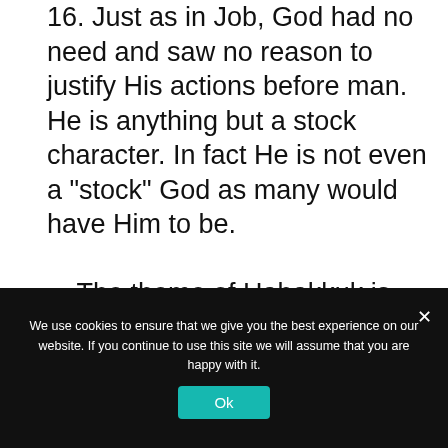16. Just as in Job, God had no need and saw no reason to justify His actions before man. He is anything but a stock character. In fact He is not even a “stock” God as many would have Him to be.

    The theme of Habakkuk is found in 3:17-19 where he comes to the conclusion that despite all outward appearances of poverty and despair, the Lord is everything he needs. Another
We use cookies to ensure that we give you the best experience on our website. If you continue to use this site we will assume that you are happy with it.